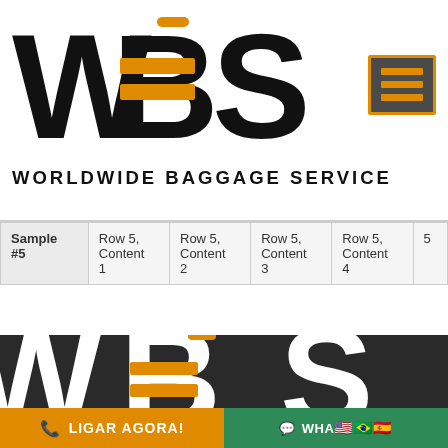[Figure (logo): WBS Worldwide Baggage Service logo — large black letters WBS with orange suitcase icon inside the B, subtitle WORLDWIDE BAGGAGE SERVICE in bold caps, hamburger menu icon in orange-bordered dark box on the right]
| Sample #5 | Row 5, Content 1 | Row 5, Content 2 | Row 5, Content 3 | Row 5, Content 4 | ... |
[Figure (logo): WBS logo repeated large in white on dark background in footer, partially cropped]
LIGAR AGORA!
WHA🇺🇸🇧🇷🇪🇸